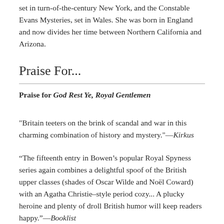set in turn-of-the-century New York, and the Constable Evans Mysteries, set in Wales. She was born in England and now divides her time between Northern California and Arizona.
Praise For...
Praise for God Rest Ye, Royal Gentlemen
"Britain teeters on the brink of scandal and war in this charming combination of history and mystery."—Kirkus
“The fifteenth entry in Bowen’s popular Royal Spyness series again combines a delightful spoof of the British upper classes (shades of Oscar Wilde and Noël Coward) with an Agatha Christie–style period cozy... A plucky heroine and plenty of droll British humor will keep readers happy.”—Booklist